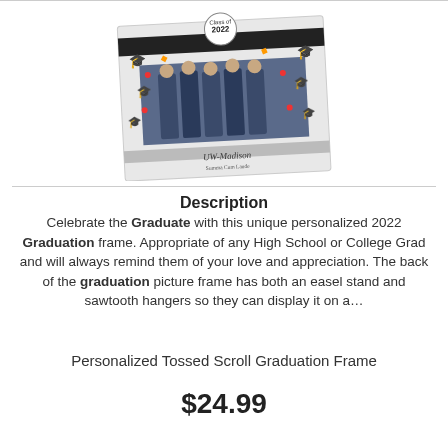[Figure (photo): A personalized graduation picture frame with 'Class of 2022' badge at top, decorative graduation caps and confetti around border, a photo of graduates in blue gowns, 'UW-Madison' text and 'Summa Cum Laude' text on the frame]
Description
Celebrate the Graduate with this unique personalized 2022 Graduation frame. Appropriate of any High School or College Grad and will always remind them of your love and appreciation. The back of the graduation picture frame has both an easel stand and sawtooth hangers so they can display it on a...
Personalized Tossed Scroll Graduation Frame
$24.99